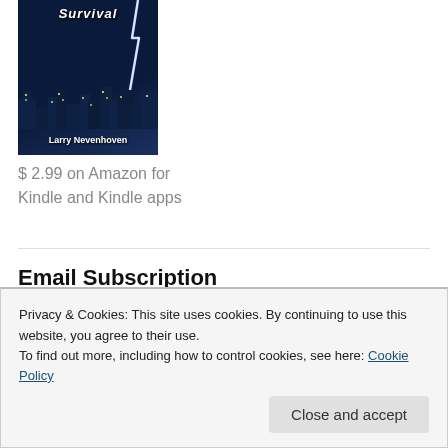[Figure (photo): Book cover showing a dark stormy city skyline with lightning, titled 'Survival' by Larry Nevenhoven]
$ 2.99 on Amazon for Kindle and Kindle apps
Email Subscription
Enter your email address to subscribe to this blog and receive notifications of new posts by email.
Privacy & Cookies: This site uses cookies. By continuing to use this website, you agree to their use.
To find out more, including how to control cookies, see here: Cookie Policy
Close and accept